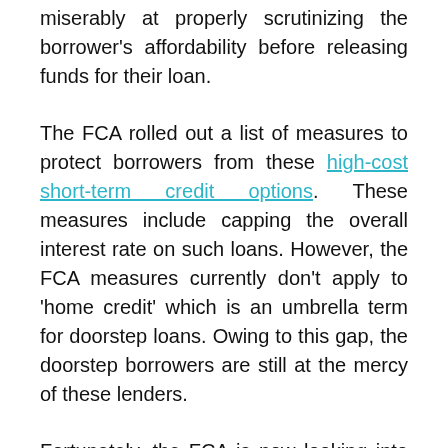miserably at properly scrutinizing the borrower's affordability before releasing funds for their loan.
The FCA rolled out a list of measures to protect borrowers from these high-cost short-term credit options. These measures include capping the overall interest rate on such loans. However, the FCA measures currently don't apply to 'home credit' which is an umbrella term for doorstep loans. Owing to this gap, the doorstep borrowers are still at the mercy of these lenders.
Fortunately, the FCA is now looking into this complication and working out ways to alert people before the situation goes beyond control. People who borrow doorstep loans at extortionate interest